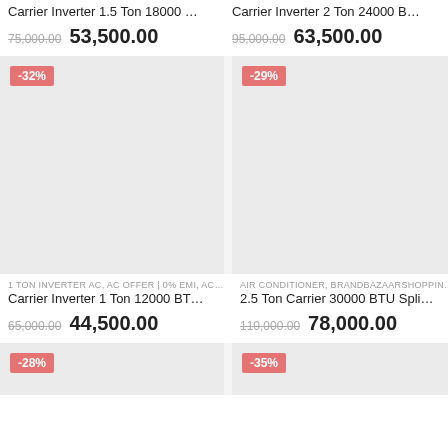Carrier Inverter 1.5 Ton 18000 ...
75,000.00  53,500.00
Carrier Inverter 2 Ton 24000 B...
95,000.00  63,500.00
[Figure (photo): Product image placeholder with -32% discount badge]
[Figure (photo): Product image placeholder with -29% discount badge]
1 TON INVERTER AC, AC OFFER | 0% EMI, AC OFFE...
AIR CONDITIONER, BRANDBAZAARSHOPPING, CA...
Carrier Inverter 1 Ton 12000 BT...
2.5 Ton Carrier 30000 BTU Spli...
65,000.00  44,500.00
110,000.00  78,000.00
[Figure (photo): Product image placeholder with -28% discount badge]
[Figure (photo): Product image placeholder with -35% discount badge]